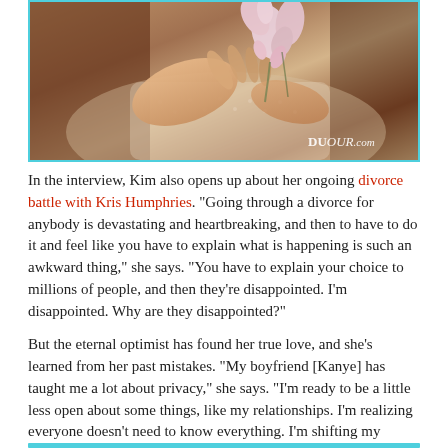[Figure (photo): A woman in a floral/lace outfit holding flowers against her chest, close-up editorial photo with DUJOUR.com watermark in bottom right corner]
In the interview, Kim also opens up about her ongoing divorce battle with Kris Humphries. "Going through a divorce for anybody is devastating and heartbreaking, and then to have to do it and feel like you have to explain what is happening is such an awkward thing," she says. "You have to explain your choice to millions of people, and then they're disappointed. I'm disappointed. Why are they disappointed?"
But the eternal optimist has found her true love, and she's learned from her past mistakes. "My boyfriend [Kanye] has taught me a lot about privacy," she says. "I'm ready to be a little less open about some things, like my relationships. I'm realizing everyone doesn't need to know everything. I'm shifting my priorities."